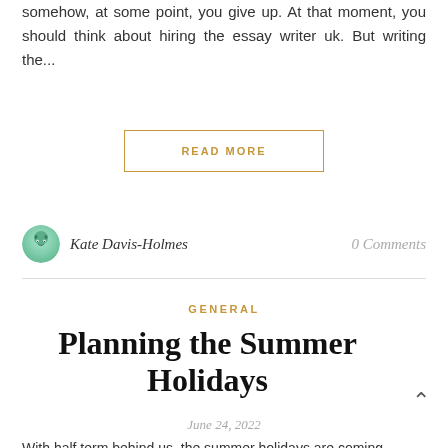somehow, at some point, you give up. At that moment, you should think about hiring the essay writer uk. But writing the...
READ MORE
Kate Davis-Holmes
0 Comments
GENERAL
Planning the Summer Holidays
June 24, 2022
With half term behind us, the summer holidays are coming